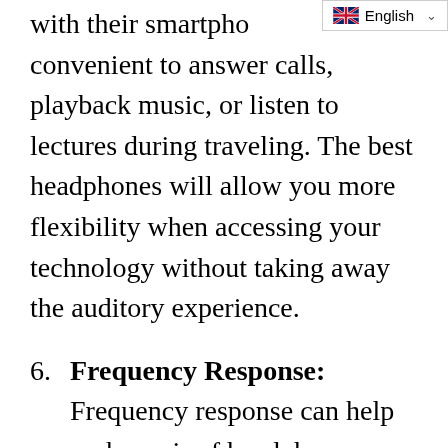with their smartphone convenient to answer calls, playback music, or listen to lectures during traveling. The best headphones will allow you more flexibility when accessing your technology without taking away the auditory experience.
6. Frequency Response: Frequency response can help rank a pair of headphones because if one headphone has a higher frequency response, it would be better for hearing more audio detail in music and sound information in videos, movies, and gaming.